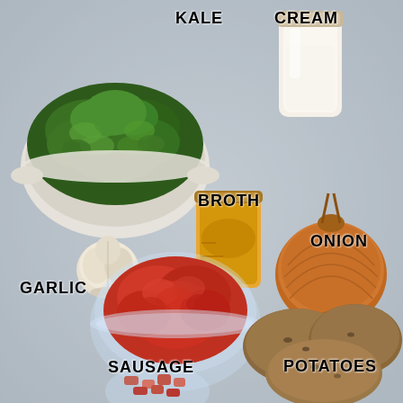[Figure (photo): Flat lay of soup ingredients on a gray surface: a white bowl of kale (top left), a glass jar of cream (top right), a glass jar of broth (center), a whole onion (right center), a head of garlic (left center), a glass bowl of raw sausage meat (center lower), three russet potatoes (bottom right), and a small glass bowl with diced bacon (bottom center). Each ingredient is labeled with bold text.]